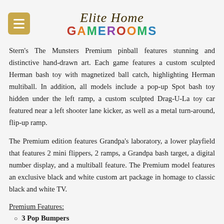Elite Home Gamerooms
Stern's The Munsters Premium pinball features stunning and distinctive hand-drawn art. Each game features a custom sculpted Herman bash toy with magnetized ball catch, highlighting Herman multiball. In addition, all models include a pop-up Spot bash toy hidden under the left ramp, a custom sculpted Drag-U-La toy car featured near a left shooter lane kicker, as well as a metal turn-around, flip-up ramp.
The Premium edition features Grandpa's laboratory, a lower playfield that features 2 mini flippers, 2 ramps, a Grandpa bash target, a digital number display, and a multiball feature. The Premium model features an exclusive black and white custom art package in homage to classic black and white TV.
Premium Features:
3 Pop Bumpers